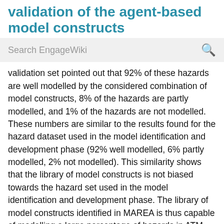validation of the agent-based model constructs
Search EngageWiki
validation set pointed out that 92% of these hazards are well modelled by the considered combination of model constructs, 8% of the hazards are partly modelled, and 1% of the hazards are not modelled. These numbers are similar to the results found for the hazard dataset used in the model identification and development phase (92% well modelled, 6% partly modelled, 2% not modelled). This similarity shows that the library of model constructs is not biased towards the hazard set used in the model identification and development phase. The library of model constructs identified in MAREA is thus capable of modelling a large percentage of hazards in ATM.
As an additional means of validation, a selection of the model constructs has been used to develop a formal, executable model of an historic ATM scenario. This